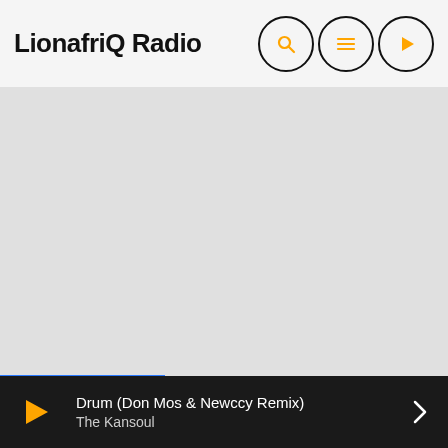LionafriQ Radio
[Figure (screenshot): Large grey placeholder content area for the LionafriQ Radio app]
UPCOMING SHOWS
Drum (Don Mos & Newccy Remix)
The Kansoul